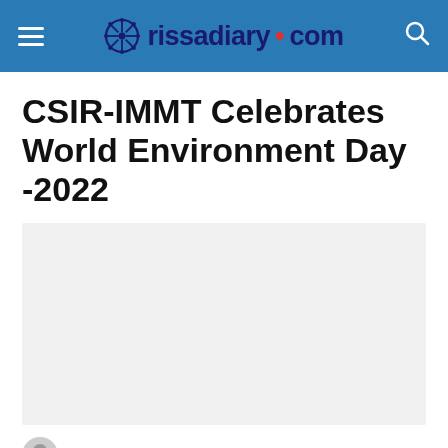rissadiary.com
CSIR-IMMT Celebrates World Environment Day -2022
[Figure (photo): Placeholder image area for article photo, light gray rectangle]
By OdAdmin on June 7, 2022